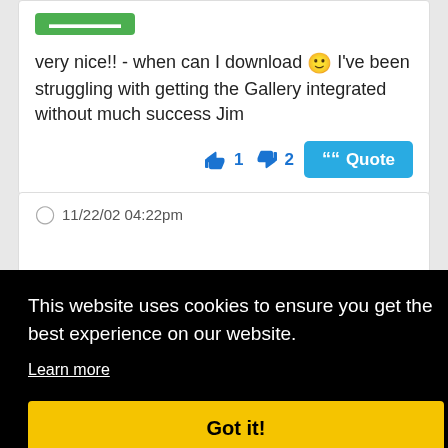very nice!! - when can I download 🙂 I've been struggling with getting the Gallery integrated without much success Jim
👍 1   👎 2   Quote
💬 11/22/02 04:22pm
This website uses cookies to ensure you get the best experience on our website.
Learn more
Got it!